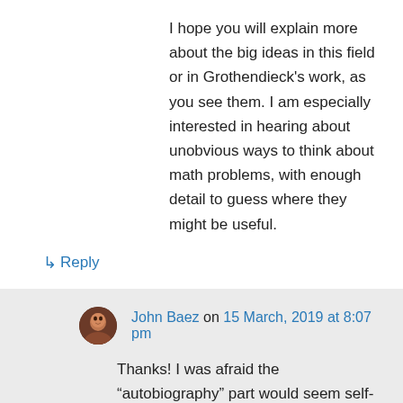I hope you will explain more about the big ideas in this field or in Grothendieck's work, as you see them. I am especially interested in hearing about unobvious ways to think about math problems, with enough detail to guess where they might be useful.
↳ Reply
John Baez on 15 March, 2019 at 8:07 pm
Thanks! I was afraid the “autobiography” part would seem self-indulgent, but I figured that if done right it would humanize the story and make more people interested —so I tried to be more modest than I